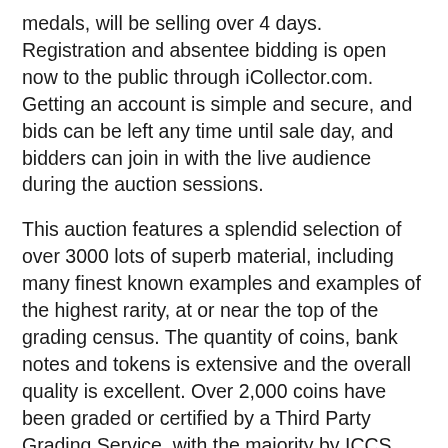medals, will be selling over 4 days. Registration and absentee bidding is open now to the public through iCollector.com. Getting an account is simple and secure, and bids can be left any time until sale day, and bidders can join in with the live audience during the auction sessions.
This auction features a splendid selection of over 3000 lots of superb material, including many finest known examples and examples of the highest rarity, at or near the top of the grading census. The quantity of coins, bank notes and tokens is extensive and the overall quality is excellent. Over 2,000 coins have been graded or certified by a Third Party Grading Service, with the majority by ICCS followed by PCGS. Well over 700 lots are within the top ten grading census or are the ‘Finest’ graded by various grading firms.
The list of highlights is extensive and bidders can view all four days of the catalog on iCollector.com. There is an incredible piece of history that stands out in the second session on